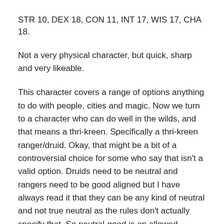STR 10, DEX 18, CON 11, INT 17, WIS 17, CHA 18.
Not a very physical character, but quick, sharp and very likeable.
This character covers a range of options anything to do with people, cities and magic. Now we turn to a character who can do well in the wilds, and that means a thri-kreen. Specifically a thri-kreen ranger/druid. Okay, that might be a bit of a controversial choice for some who say that isn't a valid option. Druids need to be neutral and rangers need to be good aligned but I have always read it that they can be any kind of neutral and not true neutral as the rules don't actually specify that. So neutral-good is an allowed choice. Besides a ranger/druid is thematically very appropriate. That's my